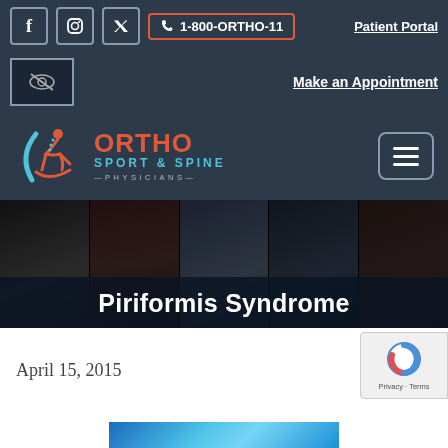1-800-ORTHO-11  Patient Portal  Make an Appointment
[Figure (logo): Ortho Sport & Spine Physicians logo with running figure icon in blue and orange]
Piriformis Syndrome
April 15, 2015